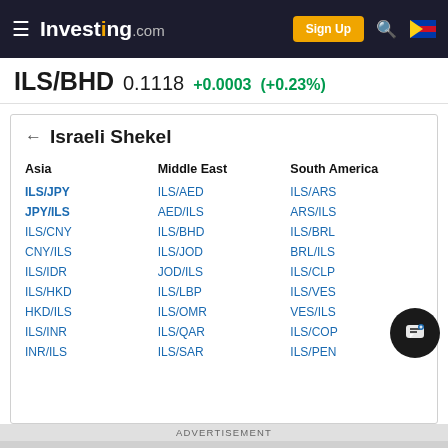Investing.com — Sign Up
ILS/BHD 0.1118 +0.0003 (+0.23%)
← Israeli Shekel
| Asia | Middle East | South America |
| --- | --- | --- |
| ILS/JPY | ILS/AED | ILS/ARS |
| JPY/ILS | AED/ILS | ARS/ILS |
| ILS/CNY | ILS/BHD | ILS/BRL |
| CNY/ILS | ILS/JOD | BRL/ILS |
| ILS/IDR | JOD/ILS | ILS/CLP |
| ILS/HKD | ILS/LBP | ILS/VES |
| HKD/ILS | ILS/OMR | VES/ILS |
| ILS/INR | ILS/QAR | ILS/COP |
| INR/ILS | ILS/SAR | ILS/PEN |
ADVERTISEMENT
[Figure (screenshot): Advertisement banner: Oooopa Hand Warmer — Reusable hand warmer — LEARN MORE button]